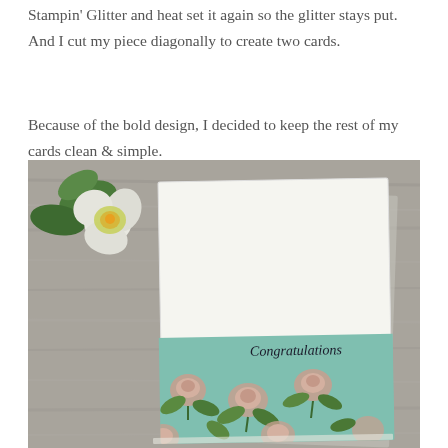Stampin' Glitter and heat set it again so the glitter stays put. And I cut my piece diagonally to create two cards.
Because of the bold design, I decided to keep the rest of my cards clean & simple.
[Figure (photo): A handmade congratulations card with a floral pattern in teal/mint with roses, placed on a grey wood surface next to a white/green flower. The card has a white top half with 'Congratulations' written in script, and a teal floral bottom half.]